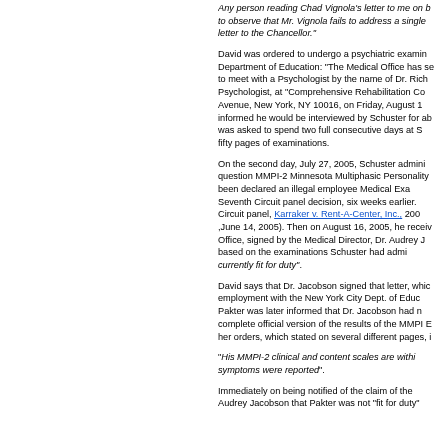Any person reading Chad Vignola's letter to me on b... to observe that Mr. Vignola fails to address a single... letter to the Chancellor."
David was ordered to undergo a psychiatric examin... Department of Education: "The Medical Office has se... to meet with a Psychologist by the name of Dr. Rich... Psychologist, at "Comprehensive Rehabilitation Co... Avenue, New York, NY 10016, on Friday, August 1... informed he would be interviewed by Schuster for ab... was asked to spend two full consecutive days at S... fifty pages of examinations.
On the second day, July 27, 2005, Schuster admini... question MMPI-2 Minnesota Multiphasic Personality... been declared an illegal employee Medical Exa... Seventh Circuit panel decision, six weeks earlier.... Circuit panel, Karraker v. Rent-A-Center, Inc., 200... ,June 14, 2005). Then on August 16, 2005, he receiv... Office, signed by the Medical Director, Dr. Audrey J... based on the examinations Schuster had admi... currently fit for duty".
David says that Dr. Jacobson signed that letter, whic... employment with the New York City Dept. of Educ... Pakter was later informed that Dr. Jacobson had n... complete official version of the results of the MMPI E... her orders, which stated on several different pages, i...
"His MMPI-2 clinical and content scales are withi... symptoms were reported".
Immediately on being notified of the claim of the... Audrey Jacobson that Pakter was not "fit for duty"...